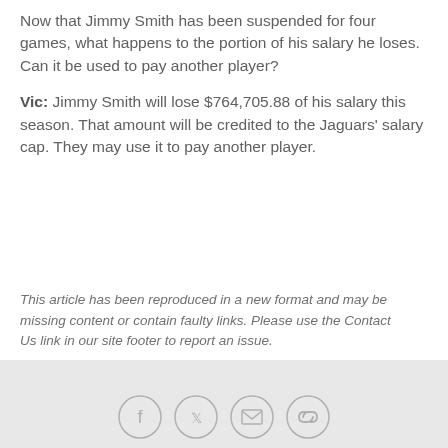Now that Jimmy Smith has been suspended for four games, what happens to the portion of his salary he loses. Can it be used to pay another player?
Vic: Jimmy Smith will lose $764,705.88 of his salary this season. That amount will be credited to the Jaguars' salary cap. They may use it to pay another player.
This article has been reproduced in a new format and may be missing content or contain faulty links. Please use the Contact Us link in our site footer to report an issue.
Social share icons: Facebook, Twitter, Email, Link